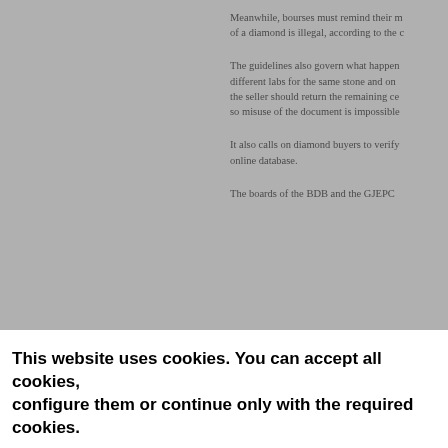[Figure (other): Gray background panel occupying the left portion of the article area, representing an image or sidebar placeholder.]
Meanwhile, bourses must remind their m... of a diamond is illegal, according to the c...
The guidelines also govern what happen... different labs for the same stone and on... the seller should return the remaining ce... so misuse of the document is impossible...
It also calls on diamond buyers to verify ... online database.
The boards of the BDB and the GJEPC ...
This website uses cookies. You can accept all cookies, configure them or continue only with the required cookies.